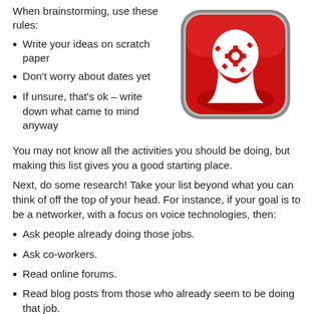When brainstorming, use these rules:
Write your ideas on scratch paper
Don't worry about dates yet
If unsure, that's ok – write down what came to mind anyway
[Figure (illustration): App icon showing a white human head silhouette with a red gear/cog inside, on a red rounded-square background with grey border]
You may not know all the activities you should be doing, but making this list gives you a good starting place.
Next, do some research! Take your list beyond what you can think of off the top of your head. For instance, if your goal is to be a networker, with a focus on voice technologies, then:
Ask people already doing those jobs.
Ask co-workers.
Read online forums.
Read blog posts from those who already seem to be doing that job.